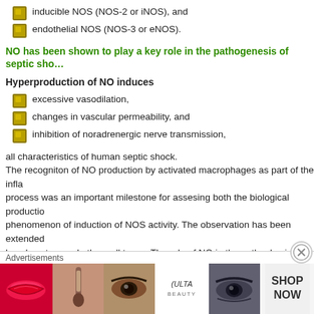inducible NOS (NOS-2 or iNOS), and
endothelial NOS (NOS-3 or eNOS).
NO has been shown to play a key role in the pathogenesis of septic shock
Hyperproduction of NO induces
excessive vasodilation,
changes in vascular permeability, and
inhibition of noradrenergic nerve transmission,
all characteristics of human septic shock. The recogniton of NO production by activated macrophages as part of the inflammatory process was an important milestone for assesing both the biological production and phenomenon of induction of NOS activity. The observation has been extended to lymphocytes, and other cell types. The role of NO in the pathophysiology of endotoxemia was advanced by Thiemermann and Vane, who observed that administration of the NOS inhibitor N-methyl-L-arginine (L-NMMA) decreased the severe hypotension associated with administration of LPS. Other groups simultaneously reported similar results indicating that endotoxin increases NO production and prompted the idea that pharmacological inhibition of NOS may be useful in the treatment of inflammation and septic shock. Ho...
[Figure (other): Advertisement banner for ULTA beauty products showing cosmetic images and SHOP NOW text]